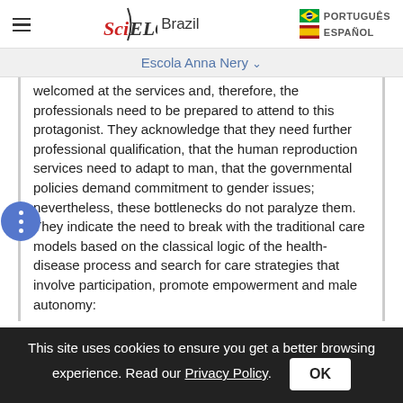SciELO Brazil — PORTUGUÊS / ESPAÑOL
Escola Anna Nery
welcomed at the services and, therefore, the professionals need to be prepared to attend to this protagonist. They acknowledge that they need further professional qualification, that the human reproduction services need to adapt to man, that the governmental policies demand commitment to gender issues; nevertheless, these bottlenecks do not paralyze them. They indicate the need to break with the traditional care models based on the classical logic of the health-disease process and search for care strategies that involve participation, promote empowerment and male autonomy:
This site uses cookies to ensure you get a better browsing experience. Read our Privacy Policy.